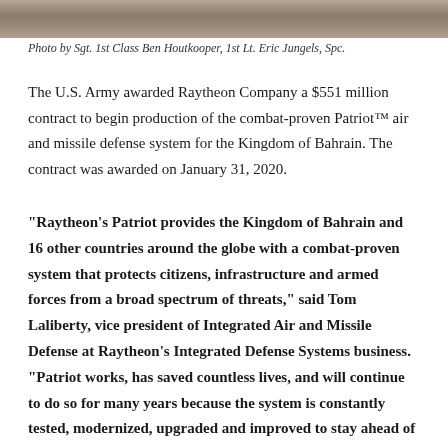[Figure (photo): Partial view of military equipment or terrain, cropped at top of page]
Photo by Sgt. 1st Class Ben Houtkooper, 1st Lt. Eric Jungels, Spc.
The U.S. Army awarded Raytheon Company a $551 million contract to begin production of the combat-proven Patriot™ air and missile defense system for the Kingdom of Bahrain. The contract was awarded on January 31, 2020.
“Raytheon’s Patriot provides the Kingdom of Bahrain and 16 other countries around the globe with a combat-proven system that protects citizens, infrastructure and armed forces from a broad spectrum of threats,” said Tom Laliberty, vice president of Integrated Air and Missile Defense at Raytheon’s Integrated Defense Systems business. “Patriot works, has saved countless lives, and will continue to do so for many years because the system is constantly tested, modernized, upgraded and improved to stay ahead of the advancing